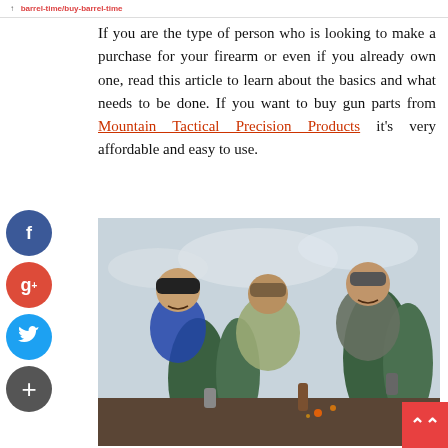barrel-time/buy-barrel-time
If you are the type of person who is looking to make a purchase for your firearm or even if you already own one, read this article to learn about the basics and what needs to be done. If you want to buy gun parts from Mountain Tactical Precision Products it's very affordable and easy to use.
[Figure (photo): Three men outdoors in a wooded mountain setting, one drinking from a bottle, one holding a cup, gathered together smiling]
[Figure (other): Social media sharing buttons: Facebook, Google+, Twitter, and a plus/add button]